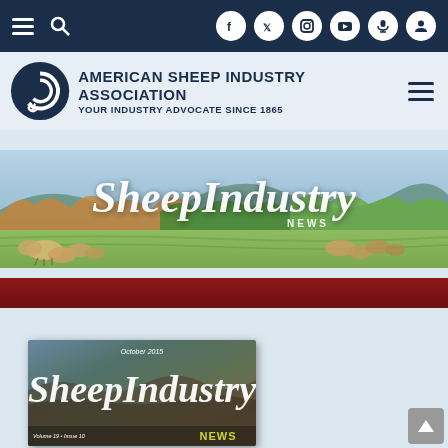American Sheep Industry Association navigation bar with social icons
[Figure (logo): American Sheep Industry Association logo with spiral sheep icon and text: AMERICAN SHEEP INDUSTRY ASSOCIATION / YOUR INDUSTRY ADVOCATE SINCE 1865]
[Figure (photo): SheepIndustry News banner with pastoral landscape showing sheep grazing in green fields with trees and mountains in background, with SheepIndustry NEWS title overlay]
[Figure (photo): Dark red horizontal stripe banner]
[Figure (screenshot): Magazine cover preview showing SheepIndustry NEWS, October 2015, Volume 19, Issue 10, with sheep on rangeland background]